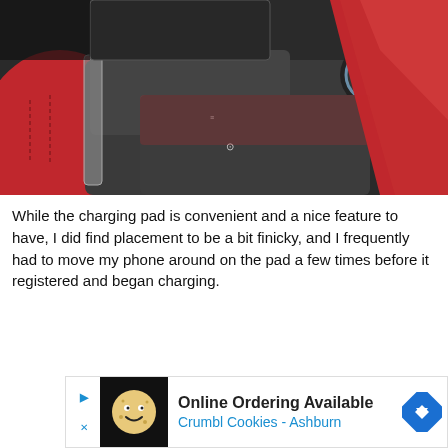[Figure (photo): Close-up photo of a car center console showing a wireless charging pad with icons, a cup holder, and red leather seat/armrest visible. The console surface has a dark textured finish with wireless charging symbols.]
While the charging pad is convenient and a nice feature to have, I did find placement to be a bit finicky, and I frequently had to move my phone around on the pad a few times before it registered and began charging.
[Figure (other): Advertisement banner: Online Ordering Available - Crumbl Cookies - Ashburn, with a Crumbl Cookies logo (cartoon face icon on black background) and a blue diamond-shaped navigation arrow icon on the right.]